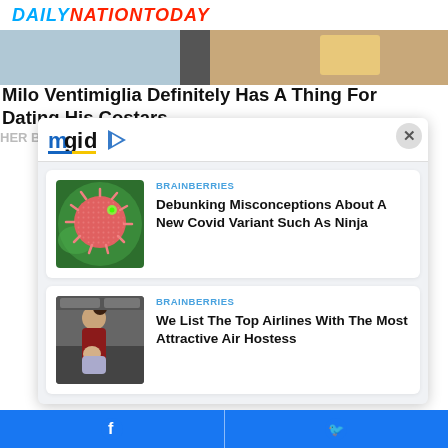DAILYNATIONTODAY
Milo Ventimiglia Definitely Has A Thing For Dating His Costars
[Figure (screenshot): mgid ad widget with close button]
[Figure (photo): Microscopic image of a pink virus particle on green background]
BRAINBERRIES
Debunking Misconceptions About A New Covid Variant Such As Ninja
[Figure (photo): Woman in airline uniform holding a baby on airplane]
BRAINBERRIES
We List The Top Airlines With The Most Attractive Air Hostess
Facebook share | Twitter share